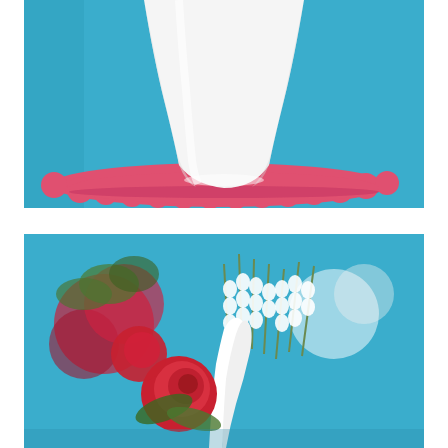[Figure (photo): Close-up photograph of a white ceramic cake stand pedestal base sitting on a scalloped pink/coral paper doily or board against a bright blue background. The white porcelain stem and wide base of the stand are in sharp focus.]
[Figure (photo): Close-up photograph of a small floral arrangement bouquet featuring white flowers (lily of the valley, tulip) and red roses against a bright blue background, with shallow depth of field blurring the background flowers.]